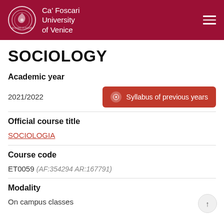Ca' Foscari University of Venice
SOCIOLOGY
Academic year
2021/2022
Syllabus of previous years
Official course title
SOCIOLOGIA
Course code
ET0059 (AF:354294 AR:167791)
Modality
On campus classes